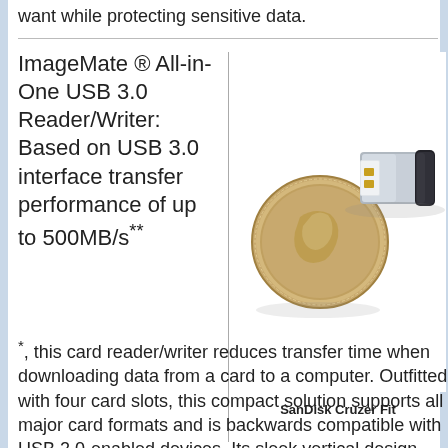want while protecting sensitive data.
ImageMate ® All-in-One USB 3.0 Reader/Writer: Based on USB 3.0 interface transfer performance of up to 500MB/s**
[Figure (photo): Photo of a coin (dime) next to a SanDisk Cruzer Fit small USB drive on a white background]
SanDisk Cruzer Fit
*, this card reader/writer reduces transfer time when downloading data from a card to a computer. Outfitted with four card slots, this compact solution supports all major card formats and is backwards compatible with USB 2.0-enabled devices. Its sleek vertical design and